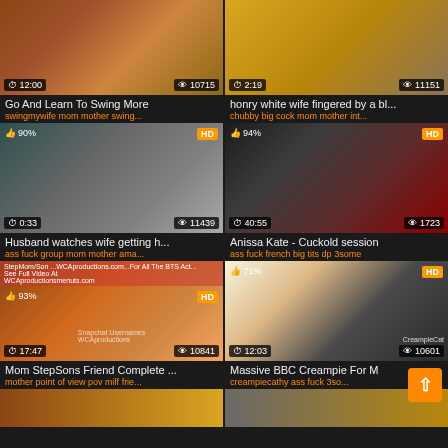[Figure (screenshot): Video thumbnail grid showing adult content video listings with thumbnails, titles, tags, view counts and durations]
Go And Learn To Swing More
swingmywife mom mother swing...
honry white wife fingered by a bl...
chubby big cock mom mother int...
Husband watches wife getting h...
ass fuck group mom mother ama...
Anissa Kate - Cuckold session
ass fuck french big tits dp 3some
Mom StepSons Friend Complete ...
mother point of view pov milf frie...
Massive BBC Creampie For M
creampiecathy ass fuck 3so...